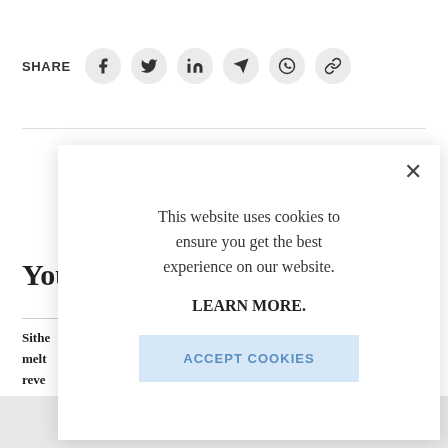SHARE
[Figure (screenshot): Social share icons: Facebook, Twitter, LinkedIn, Telegram, WhatsApp, link/copy]
You
Sithe melt reve
[Figure (screenshot): Cookie consent modal overlay with close button (×), message 'This website uses cookies to ensure you get the best experience on our website.', 'LEARN MORE.' link, and 'ACCEPT COOKIES' button]